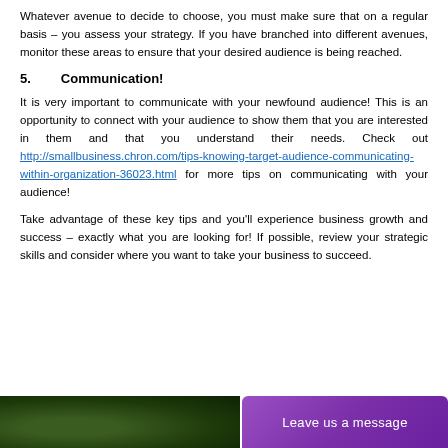Whatever avenue to decide to choose, you must make sure that on a regular basis – you assess your strategy. If you have branched into different avenues, monitor these areas to ensure that your desired audience is being reached.
5.    Communication!
It is very important to communicate with your newfound audience! This is an opportunity to connect with your audience to show them that you are interested in them and that you understand their needs. Check out http://smallbusiness.chron.com/tips-knowing-target-audience-communicating-within-organization-36023.html for more tips on communicating with your audience!
Take advantage of these key tips and you'll experience business growth and success – exactly what you are looking for! If possible, review your strategic skills and consider where you want to take your business to succeed.
[Figure (photo): Bottom bar with a dark green leafy photo on the left and a purple 'Leave us a message' button on the right]